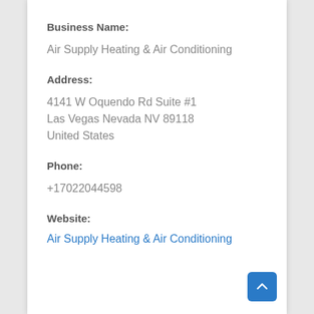Business Name:
Air Supply Heating & Air Conditioning
Address:
4141 W Oquendo Rd Suite #1
Las Vegas Nevada NV 89118
United States
Phone:
+17022044598
Website:
Air Supply Heating & Air Conditioning